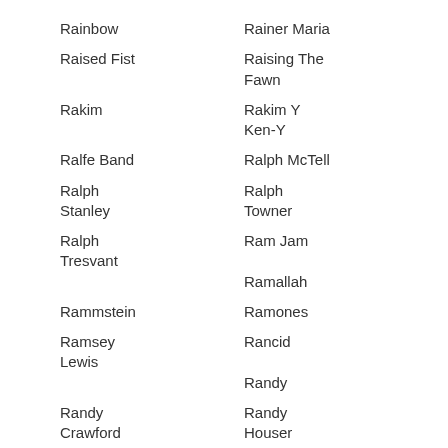Rainbow
Rainer Maria
Raised Fist
Raising The Fawn
Rakim
Rakim Y Ken-Y
Ralfe Band
Ralph McTell
Ralph Stanley
Ralph Towner
Ralph Tresvant
Ram Jam
Ramallah
Rammstein
Ramones
Ramsey Lewis
Rancid
Randy
Randy Crawford
Randy Houser
Randy Newman
Randy Travis
Randy Weston
Rank 1
Rantanplan